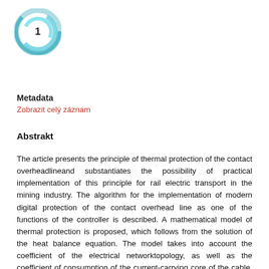[Figure (logo): Circular teal/blue spiral logo with number 1 in the center]
Metadata
Zobrazit celý záznam
Abstrakt
The article presents the principle of thermal protection of the contact overheadlineand substantiates the possibility of practical implementation of this principle for rail electric transport in the mining industry. The algorithm for the implementation of modern digital protection of the contact overhead line as one of the functions of the controller is described. A mathematical model of thermal protection is proposed, which follows from the solution of the heat balance equation. The model takes into account the coefficient of the electrical networktopology, as well as the coefficient of consumption of the current-carrying core of the cable, which determines the reduction in the conducting section from contact erosion and the growth of oxide films. Corrections for air flows